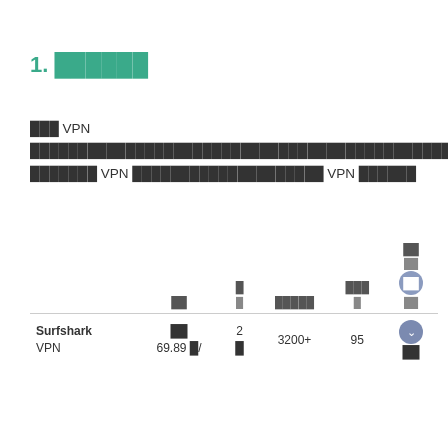1. ██████
███ VPN ██████████████████████████████████████████████████ ███████ VPN ████████████████████ VPN ██████
|  | ██ | █ █ | █████ | ███ █ | ██ ██ ██ |
| --- | --- | --- | --- | --- | --- |
| Surfshark VPN | ██
69.89 █/ | 2
█ | 3200+ | 95 | ██ |